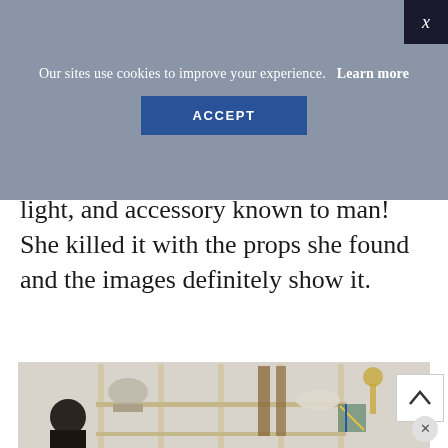[Figure (screenshot): Cookie consent banner overlay with 'Our sites use cookies to improve your experience. Learn more' text, an ACCEPT button, and an X close button in the top-right corner.]
light, and accessory known to man! She killed it with the props she found and the images definitely show it.
[Figure (photo): A cluttered studio storage shelf filled with various furniture pieces, ladders, lamps, bowls and props. A person wearing a black shirt sits in the foreground at a desk.]